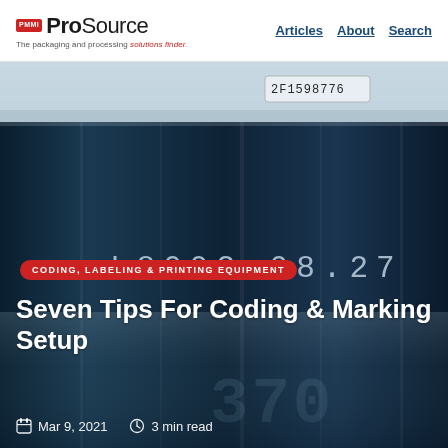PMMI ProSource — The packaging and processing solutions finder. Articles  About  Search
[Figure (photo): Close-up photo of a dark metallic cylinder/can with an inkjet-printed code 'L8093 08.27' in white on the surface, and a label '2F1598776' at the top. Background is dark blue-grey with industrial tones.]
CODING, LABELING & PRINTING EQUIPMENT
Seven Tips For Coding & Marking Setup
Mar 9, 2021   3 min read